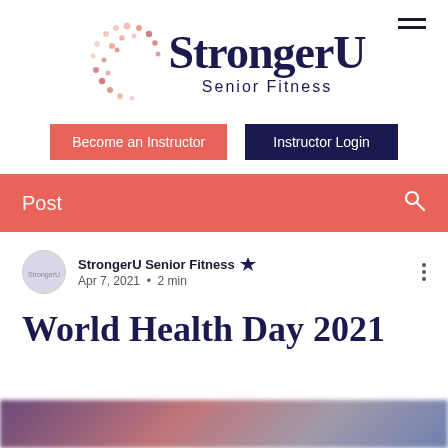[Figure (logo): StrongerU Senior Fitness logo with circular dot pattern and bold dark blue text]
Become an Instructor
Instructor Login
Post
StrongerU Senior Fitness  Apr 7, 2021 · 2 min
World Health Day 2021
[Figure (photo): Blurred purple and pink image at bottom of page]